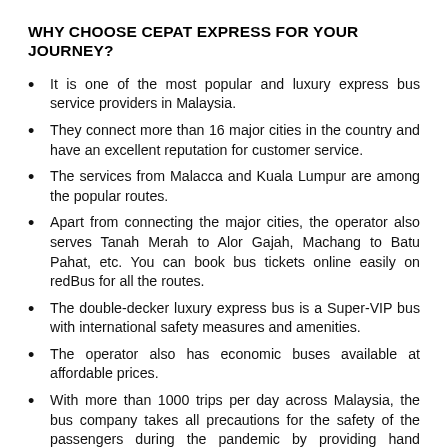WHY CHOOSE CEPAT EXPRESS FOR YOUR JOURNEY?
It is one of the most popular and luxury express bus service providers in Malaysia.
They connect more than 16 major cities in the country and have an excellent reputation for customer service.
The services from Malacca and Kuala Lumpur are among the popular routes.
Apart from connecting the major cities, the operator also serves Tanah Merah to Alor Gajah, Machang to Batu Pahat, etc. You can book bus tickets online easily on redBus for all the routes.
The double-decker luxury express bus is a Super-VIP bus with international safety measures and amenities.
The operator also has economic buses available at affordable prices.
With more than 1000 trips per day across Malaysia, the bus company takes all precautions for the safety of the passengers during the pandemic by providing hand sanitisers and temperature screening facilities,